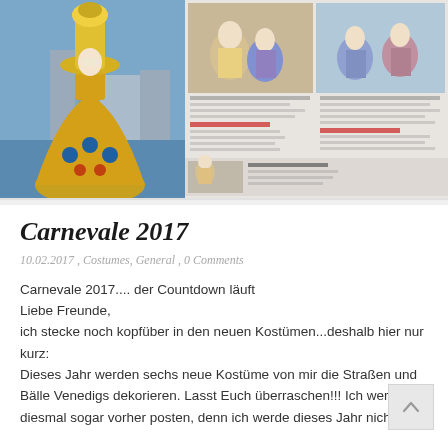[Figure (photo): Magazine spread showing Carnevale costumes. Left: tall elaborate Venetian carnival costume figure against Venice waterfront background. Right: two-panel magazine article layout with costumed figures in ornate Venetian carnival masks and costumes.]
Carnevale 2017
10.02.2017 , Costumes, General , 0 Comments
Carnevale 2017.... der Countdown läuft
Liebe Freunde,
ich stecke noch kopfüber in den neuen Kostümen...deshalb hier nur kurz:
Dieses Jahr werden sechs neue Kostüme von mir die Straßen und Bälle Venedigs dekorieren. Lasst Euch überraschen!!! Ich werde sie diesmal sogar vorher posten, denn ich werde dieses Jahr nicht am